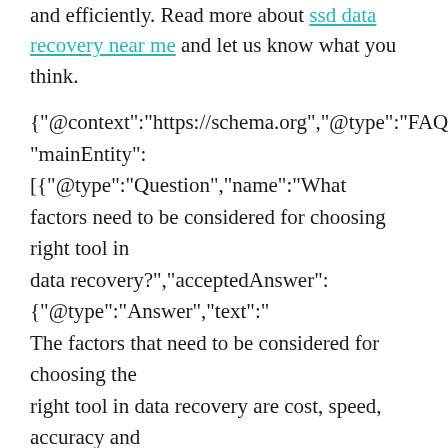and efficiently. Read more about ssd data recovery near me and let us know what you think.
{"@context":"https://schema.org","@type":"FAQPage","mainEntity":[{"@type":"Question","name":"What factors need to be considered for choosing right tool in data recovery?","acceptedAnswer":{"@type":"Answer","text":"The factors that need to be considered for choosing the right tool in data recovery are cost, speed, accuracy and reliability."}},{"@type":"Question","name":"Why is data recovery important?","acceptedAnswer":{"@type":"Answer","text":"Data recovery is important because it allows you to recover lost data, such as photos, videos, and documents."}},{"@type":"Question","name":"What do professionals use for data recovery?","acceptedAnswer":